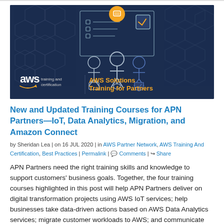[Figure (illustration): AWS Training and Certification banner — dark navy background with geometric hex pattern, line-art illustration of three people (with icons: briefcase, wrench, shield) in front of a screen with checklist and speech bubble. Bottom-left shows AWS logo with 'training and certification' text. Right side shows 'AWS Solutions Training for Partners' in orange text.]
New and Updated Training Courses for APN Partners—IoT, Data Analytics, Migration, and Amazon Connect
by Sheridan Lea | on 16 JUL 2020 | in AWS Partner Network, AWS Training And Certification, Best Practices | Permalink | 💬 Comments | ↪ Share
APN Partners need the right training skills and knowledge to support customers' business goals. Together, the four training courses highlighted in this post will help APN Partners deliver on digital transformation projects using AWS IoT services; help businesses take data-driven actions based on AWS Data Analytics services; migrate customer workloads to AWS; and communicate the benefits of moving customer contact centers to the AWS